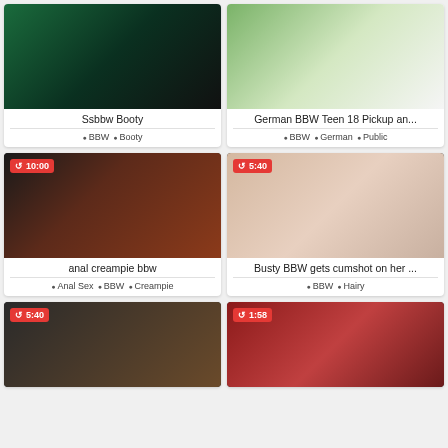[Figure (photo): Thumbnail: Ssbbw Booty video - no duration badge]
Ssbbw Booty
BBW  Booty
[Figure (photo): Thumbnail: German BBW Teen 18 Pickup video - no duration badge]
German BBW Teen 18 Pickup an...
BBW  German  Public
[Figure (photo): Thumbnail: anal creampie bbw - duration 10:00]
anal creampie bbw
Anal Sex  BBW  Creampie
[Figure (photo): Thumbnail: Busty BBW gets cumshot on her - duration 5:40]
Busty BBW gets cumshot on her ...
BBW  Hairy
[Figure (photo): Thumbnail: partial view bottom left - duration 5:40]
[Figure (photo): Thumbnail: partial view bottom right - duration 1:58]